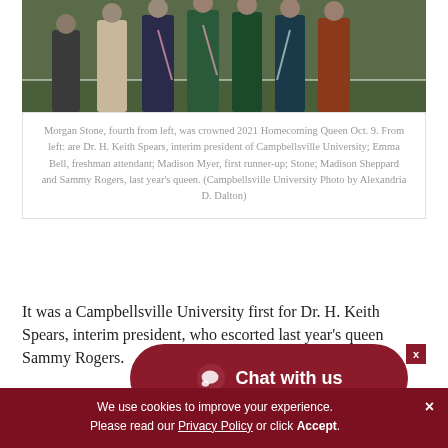[Figure (photo): Group photo of people including Morgan Stone and others on a football field at a homecoming event]
Morgan Stone, fourth from left, was crowned 2021 Homecoming Queen Oct. 9. From left: are Dr. H. Keith Spears, interim president of Campbellsville University; Emma Bell, freshman attendant; Madison Myer, first runner-up; Stone; Madison Sheppard and Sammy Rogers, last year's queen. (Campbellsville University Photo by Alexandria D. Dalton)
It was a Campbellsville University first for Dr. H. Keith Spears, interim president, who escorted last year's queen Sammy Rogers.
Winners for the Homecoming floats were: Carver